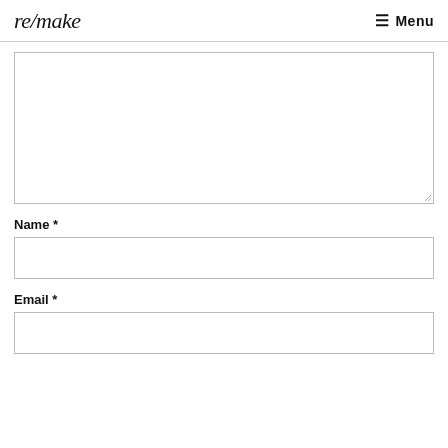re/make  ☰ Menu
[Figure (screenshot): Large empty textarea form field with resize handle at bottom right]
Name *
[Figure (screenshot): Single-line text input field for Name]
Email *
[Figure (screenshot): Single-line text input field for Email]